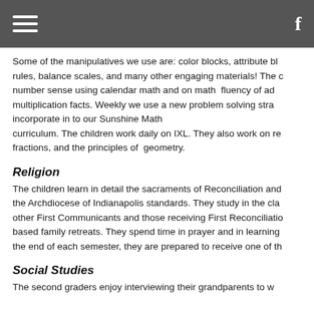Navigation bar with hamburger menu and Facebook icon
Some of the manipulatives we use are: color blocks, attribute bl... rules, balance scales, and many other engaging materials! The c... number sense using calendar math and on math fluency of ad... multiplication facts. Weekly we use a new problem solving stra... incorporate in to our Sunshine Math curriculum. The children work daily on IXL. They also work on re... fractions, and the principles of geometry.
Religion
The children learn in detail the sacraments of Reconciliation and... the Archdiocese of Indianapolis standards. They study in the cla... other First Communicants and those receiving First Reconciliatio... based family retreats. They spend time in prayer and in learning... the end of each semester, they are prepared to receive one of th...
Social Studies
The second graders enjoy interviewing their grandparents to w...